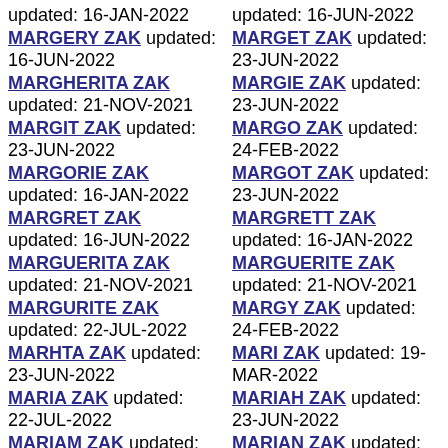updated: 16-JAN-2022
MARGERY ZAK updated: 16-JUN-2022
MARGHERITA ZAK updated: 21-NOV-2021
MARGIT ZAK updated: 23-JUN-2022
MARGORIE ZAK updated: 16-JAN-2022
MARGRET ZAK updated: 16-JUN-2022
MARGUERITA ZAK updated: 21-NOV-2021
MARGURITE ZAK updated: 22-JUL-2022
MARHTA ZAK updated: 23-JUN-2022
MARIA ZAK updated: 22-JUL-2022
MARIAM ZAK updated:
updated: 16-JUN-2022
MARGET ZAK updated: 23-JUN-2022
MARGIE ZAK updated: 23-JUN-2022
MARGO ZAK updated: 24-FEB-2022
MARGOT ZAK updated: 23-JUN-2022
MARGRETT ZAK updated: 16-JAN-2022
MARGUERITE ZAK updated: 21-NOV-2021
MARGY ZAK updated: 24-FEB-2022
MARI ZAK updated: 19-MAR-2022
MARIAH ZAK updated: 23-JUN-2022
MARIAN ZAK updated: